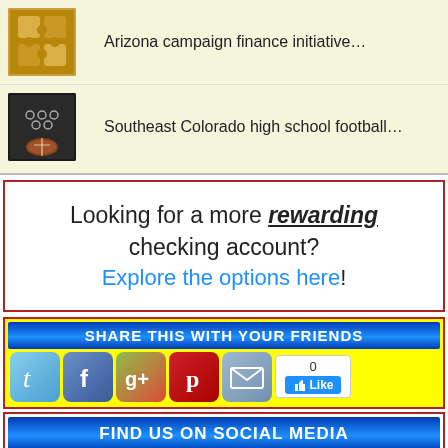Arizona campaign finance initiative…
Southeast Colorado high school football…
Looking for a more rewarding checking account? Explore the options here!
SHARE THIS WITH YOUR FRIENDS
[Figure (infographic): Social share icons: Twitter, Facebook, Google+, Pinterest, Email, and a Facebook Like button showing 0 likes]
FIND US ON SOCIAL MEDIA
[Figure (infographic): Social media icons row at bottom]